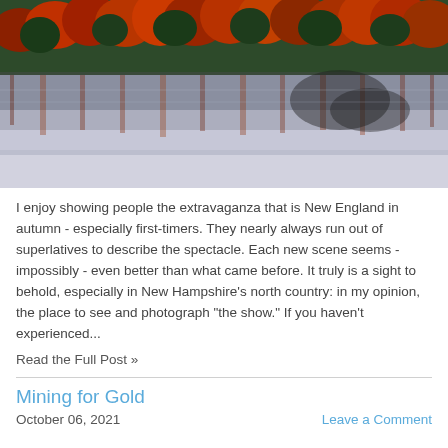[Figure (photo): Autumn foliage reflected in a misty lake in New England. Red and orange trees line the far shore, with their reflections visible in the calm water. The foreground is covered in pale mist rising from the lake surface.]
I enjoy showing people the extravaganza that is New England in autumn - especially first-timers. They nearly always run out of superlatives to describe the spectacle. Each new scene seems - impossibly - even better than what came before. It truly is a sight to behold, especially in New Hampshire's north country: in my opinion, the place to see and photograph "the show." If you haven't experienced...
Read the Full Post »
Mining for Gold
October 06, 2021
Leave a Comment